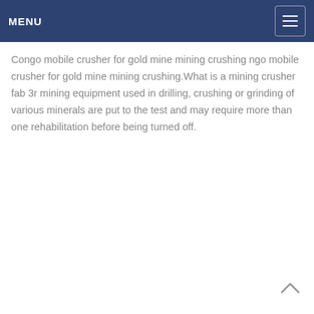MENU
Congo mobile crusher for gold mine mining crushing ngo mobile crusher for gold mine mining crushing.What is a mining crusher fab 3r mining equipment used in drilling, crushing or grinding of various minerals are put to the test and may require more than one rehabilitation before being turned off.